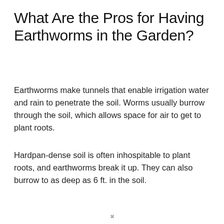What Are the Pros for Having Earthworms in the Garden?
Earthworms make tunnels that enable irrigation water and rain to penetrate the soil. Worms usually burrow through the soil, which allows space for air to get to plant roots.
Hardpan-dense soil is often inhospitable to plant roots, and earthworms break it up. They can also burrow to as deep as 6 ft. in the soil.